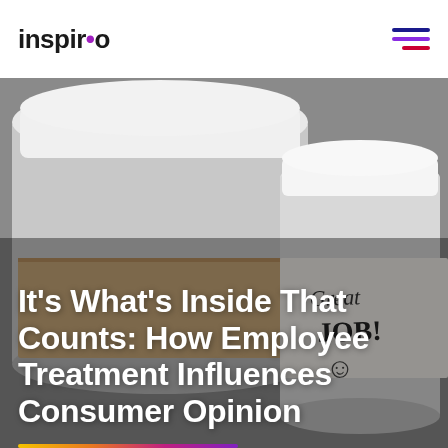inspiro
[Figure (photo): Close-up photo of takeaway coffee cups, one paper cup sleeve visible with handwritten text 'Great JOB!' and a smiley face. Blurred grey background. The image serves as a hero background for the article title.]
It's What's Inside That Counts: How Employee Treatment Influences Consumer Opinion